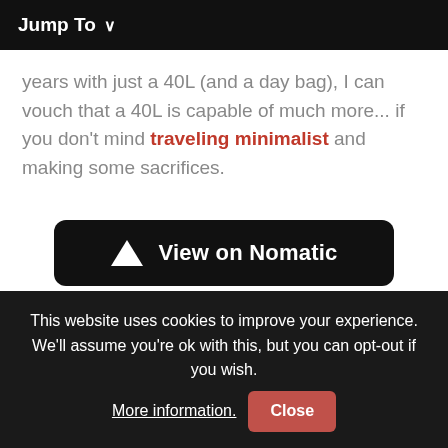Jump To ∨
years with just a 40L (and a day bag), I can vouch that a 40L is capable of much more... if you don't mind traveling minimalist and making some sacrifices.
[Figure (other): Black rounded button with Nomatic triangle logo and text 'View on Nomatic']
Meet The Peak Design Capture Clip...
This website uses cookies to improve your experience. We'll assume you're ok with this, but you can opt-out if you wish. More information. Close